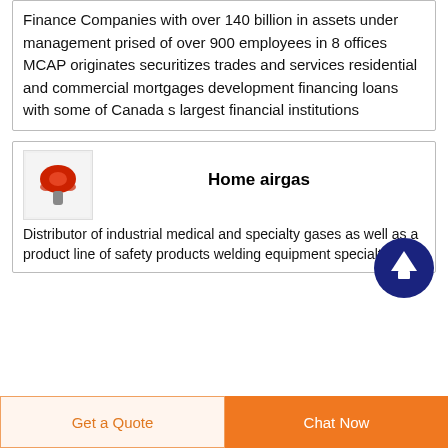Finance Companies with over 140 billion in assets under management prised of over 900 employees in 8 offices MCAP originates securitizes trades and services residential and commercial mortgages development financing loans with some of Canada s largest financial institutions
[Figure (logo): Small logo image with red mushroom-like shape on white background]
Home airgas
Distributor of industrial medical and specialty gases as well as a product line of safety products welding equipment specialty
[Figure (other): Dark blue circle with white upward-pointing arrow scroll-to-top button]
Get a Quote   Chat Now